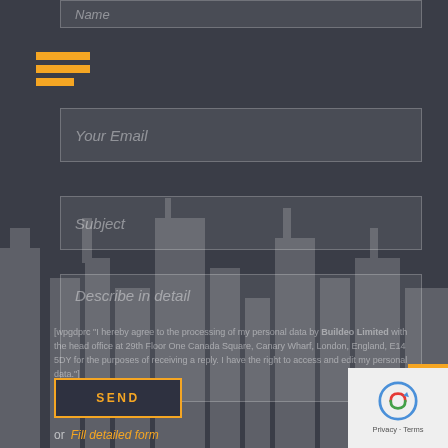[Figure (other): Partial Name input field at top of page, partially visible]
[Figure (other): Hamburger menu icon with three orange horizontal bars]
Your Email
Subject
Describe in detail
[wpgdprc "I hereby agree to the processing of my personal data by Buildeo Limited with the head office at 29th Floor One Canada Square, Canary Wharf, London, England, E14 5DY for the purposes of receiving a reply. I have the right to access and edit my personal data."]
SEND
or  Fill detailed form